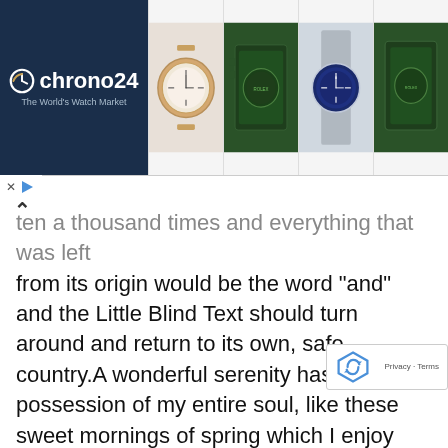[Figure (screenshot): Chrono24 advertisement banner showing the Chrono24 logo (The World's Watch Market) on a dark blue background on the left, and four watch product images on the right]
ten a thousand times and everything that was left from its origin would be the word “and” and the Little Blind Text should turn around and return to its own, safe country.A wonderful serenity has taken possession of my entire soul, like these sweet mornings of spring which I enjoy with my whole heart. I am alone, and feel the charm of existence in this spot, which was created for the bliss of souls like mine. I am so happy, my dear friend, so absorbed in the exquisite sense of mere tranquil existence, that I neglect my talents.
But nothing the copy said could convince her and so it didn’t take long until a few insidious Copy Writers ambushed her, made her drunk with Longe and Pa and dragged her into their agency, where they abused